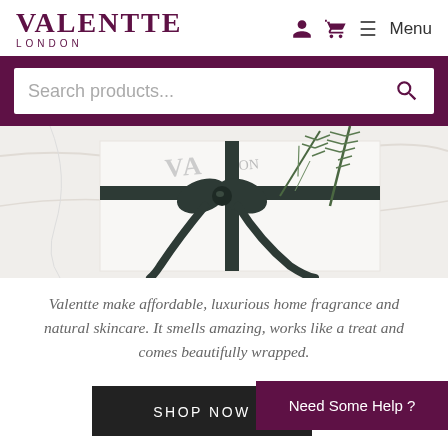VALENTTE LONDON
Search products...
[Figure (photo): Gift box wrapped with dark green ribbon and rosemary sprigs on white marble background, with Valentte London branding visible]
Valentte make affordable, luxurious home fragrance and natural skincare. It smells amazing, works like a treat and comes beautifully wrapped.
SHOP NOW
Need Some Help ?